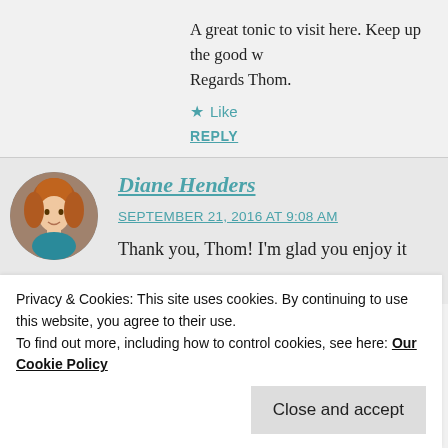A great tonic to visit here. Keep up the good w… Regards Thom.
★ Like
REPLY
Diane Henders
SEPTEMBER 21, 2016 AT 9:08 AM
Thank you, Thom! I'm glad you enjoy it
★ Liked by 1 person
Privacy & Cookies: This site uses cookies. By continuing to use this website, you agree to their use.
To find out more, including how to control cookies, see here: Our Cookie Policy
Close and accept